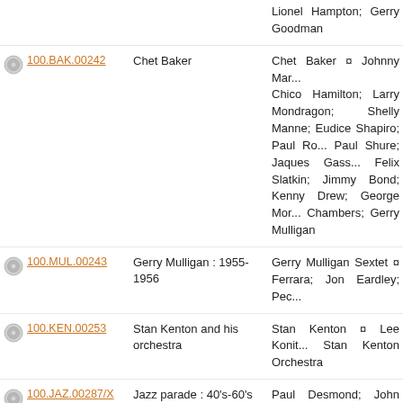Lionel Hampton; Gerry Goodman
100.BAK.00242 | Chet Baker | Chet Baker ¤ Johnny Mar... Chico Hamilton; Larry Mondragon; Shelly Manne; Eudice Shapiro; Paul Ro... Paul Shure; Jaques Gass... Felix Slatkin; Jimmy Bond; Kenny Drew; George Mor... Chambers; Gerry Mulligan
100.MUL.00243 | Gerry Mulligan : 1955-1956 | Gerry Mulligan Sextet ¤ Ferrara; Jon Eardley; Pec...
100.KEN.00253 | Stan Kenton and his orchestra | Stan Kenton ¤ Lee Konit... Stan Kenton Orchestra
100.JAZ.00287/X | Jazz parade : 40's-60's | Paul Desmond; John Co... Sonny Rollins; Charles Ellington; Stan Kenton; Goodman; Oscar Peterse... Charlie Parker; Thelonio... Herman; Lionel Hampton; Modern Jazz Quartet; Da... Quintet; Sonny Rollins...